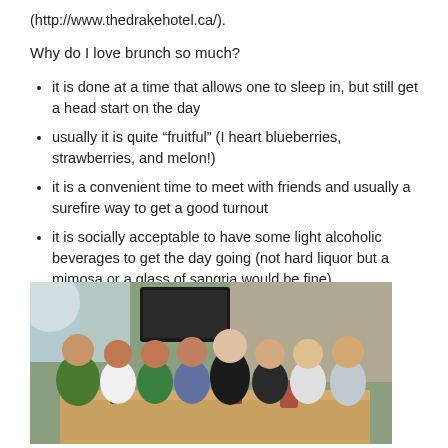(http://www.thedrakehotel.ca/).
Why do I love brunch so much?
it is done at a time that allows one to sleep in, but still get a head start on the day
usually it is quite “fruitful” (I heart blueberries, strawberries, and melon!)
it is a convenient time to meet with friends and usually a surefire way to get a good turnout
it is socially acceptable to have some light alcoholic beverages to get the day going (not hard liquor but a mimosa or a glass of sangria would be fine)
[Figure (photo): Group of young people sitting around a table at a restaurant/brunch setting, smiling at the camera. There are drinks on the table. The setting appears to be a modern restaurant with large windows.]